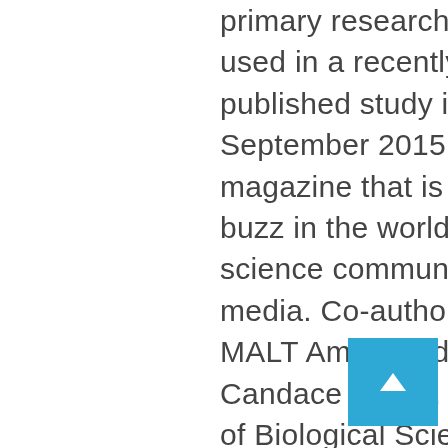primary research sites used in a recently published study in the September 2015 Science magazine that is creating a buzz in the world-wide science community and media. Co-authored by MALT Ambassador Dr. Candace Galen, Professor of Biological Sciences at University of Missouri, and MALT's 2015 Pennsylvania Mountain Research Intern Elizabeth Hedrick, Research Assistant at Missouri State University, finds that in two alpine bumble bee species, decreases in tongue length have evolved over 40 years. Researchers have